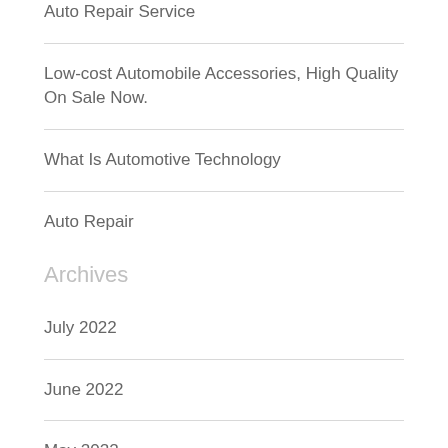Auto Repair Service
Low-cost Automobile Accessories, High Quality On Sale Now.
What Is Automotive Technology
Auto Repair
Archives
July 2022
June 2022
May 2022
April 2022